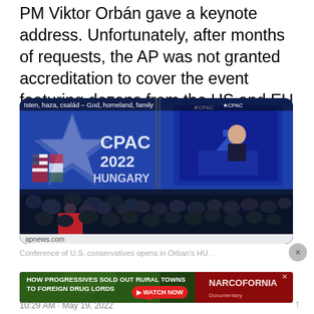PM Viktor Orban gave a keynote address. Unfortunately, after months of requests, the AP was not granted accreditation to cover the event featuring dozens from the US and EU right wing.
[Figure (photo): CPAC Hungary 2022 conference event photo showing a large crowd in a blue-lit venue. On stage screens: 'Isten, haza, család – God, homeland, family' banner, CPAC star logo, 2022 HUNGARY text. A TV screen shows a man speaking at a podium with a US Capitol graphic behind him.]
apnews.com
Conference of U.S. conservatives opens in Orban's HU...
[Figure (other): Advertisement: 'HOW PROGRESSIVES SOLD OUT RURAL TOWNS TO FOREIGN DRUG LORDS' NARCOFORNIA - WATCH NOW button]
10:29 AM · May 19, 2022